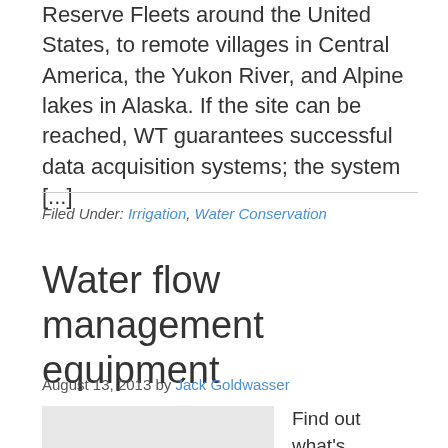Reserve Fleets around the United States, to remote villages in Central America, the Yukon River, and Alpine lakes in Alaska. If the site can be reached, WT guarantees successful data acquisition systems; the system [...]
Filed Under: Irrigation, Water Conservation
Water flow management equipment
August 13, 2013 by Jack Goldwasser
[Figure (photo): Thumbnail image placeholder (light gray rectangle)]
Find out what's happening with the water with WT's